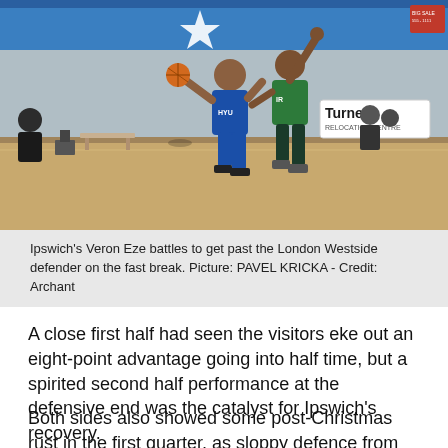[Figure (photo): Basketball game action shot: player in blue uniform (Ipswich) drives past a defender in green uniform (London Westside) on a fast break. Indoor gymnasium with spectators visible. 'Turners' sponsorship banner visible on the right wall. Blue star graphic on back wall.]
Ipswich's Veron Eze battles to get past the London Westside defender on the fast break. Picture: PAVEL KRICKA - Credit: Archant
A close first half had seen the visitors eke out an eight-point advantage going into half time, but a spirited second half performance at the defensive end was the catalyst for Ipswich's recovery.
Both sides also showed some post-Christmas rust in the first quarter, as sloppy defence from both sides